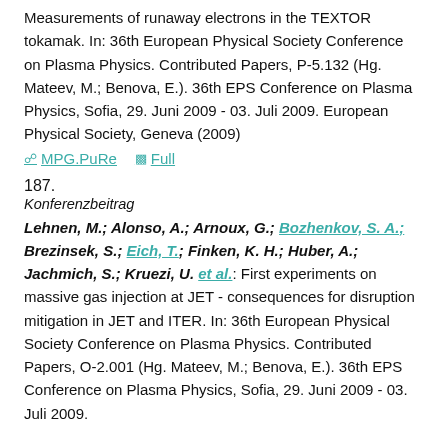Measurements of runaway electrons in the TEXTOR tokamak. In: 36th European Physical Society Conference on Plasma Physics. Contributed Papers, P-5.132 (Hg. Mateev, M.; Benova, E.). 36th EPS Conference on Plasma Physics, Sofia, 29. Juni 2009 - 03. Juli 2009. European Physical Society, Geneva (2009)
MPG.PuRe   Full
187.
Konferenzbeitrag
Lehnen, M.; Alonso, A.; Arnoux, G.; Bozhenkov, S. A.; Brezinsek, S.; Eich, T.; Finken, K. H.; Huber, A.; Jachmich, S.; Kruezi, U. et al.: First experiments on massive gas injection at JET - consequences for disruption mitigation in JET and ITER. In: 36th European Physical Society Conference on Plasma Physics. Contributed Papers, O-2.001 (Hg. Mateev, M.; Benova, E.). 36th EPS Conference on Plasma Physics, Sofia, 29. Juni 2009 - 03. Juli 2009.